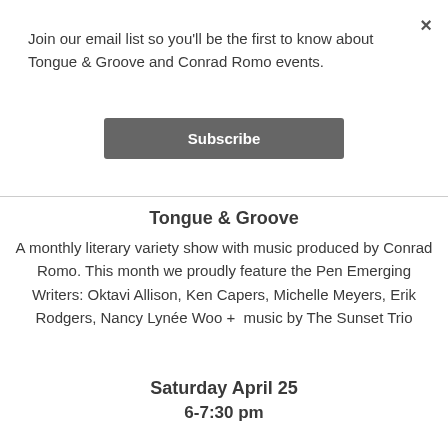×
Join our email list so you'll be the first to know about Tongue & Groove and Conrad Romo events.
Subscribe
Tongue & Groove
A monthly literary variety show with music produced by Conrad Romo. This month we proudly feature the Pen Emerging Writers: Oktavi Allison, Ken Capers, Michelle Meyers, Erik Rodgers, Nancy Lynée Woo +  music by The Sunset Trio
Saturday April 25
6-7:30 pm